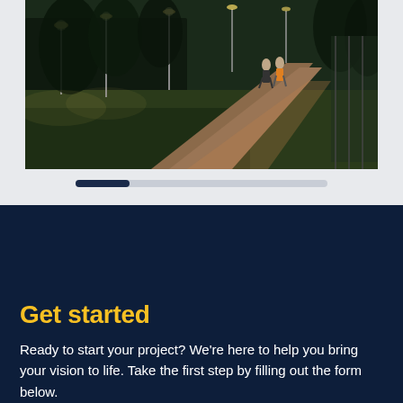[Figure (photo): Night-time campus photo showing a lit pathway through a green lawn with trees and lights in the background, with two people walking along the path.]
[Figure (infographic): Progress bar indicator showing a dark navy filled segment on the left and a light grey track extending to the right.]
Get started
Ready to start your project? We're here to help you bring your vision to life. Take the first step by filling out the form below.